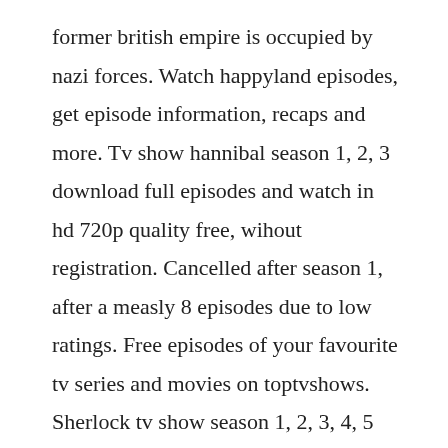former british empire is occupied by nazi forces. Watch happyland episodes, get episode information, recaps and more. Tv show hannibal season 1, 2, 3 download full episodes and watch in hd 720p quality free, wihout registration. Cancelled after season 1, after a measly 8 episodes due to low ratings. Free episodes of your favourite tv series and movies on toptvshows. Sherlock tv show season 1, 2, 3, 4, 5 download full episodes. Oct 14, 2014 watch happyland never break character s1 e3 online watch online anytime.